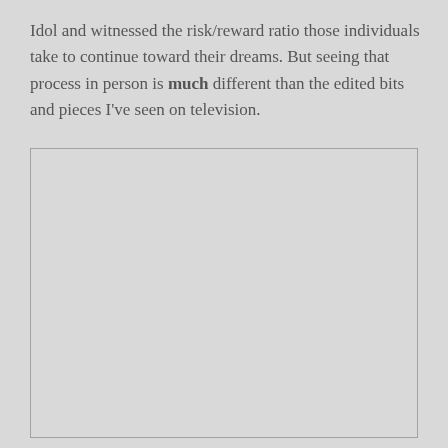Idol and witnessed the risk/reward ratio those individuals take to continue toward their dreams. But seeing that process in person is much different than the edited bits and pieces I've seen on television.
[Figure (other): A large empty light-gray rectangle with a thin border, appearing to be a placeholder for an image.]